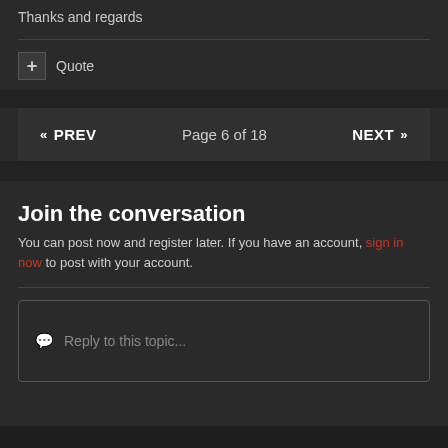Thanks and regards
+ Quote
« PREV   Page 6 of 18   NEXT »
Join the conversation
You can post now and register later. If you have an account, sign in now to post with your account.
Reply to this topic...